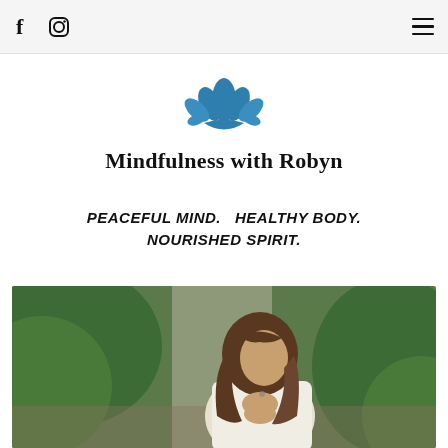Navigation bar with Facebook icon, Instagram icon, and hamburger menu
[Figure (logo): Blue lotus flower logo icon]
Mindfulness with Robyn
PEACEFUL MIND.   HEALTHY BODY.
NOURISHED SPIRIT.
[Figure (photo): Woman with long brown hair in a white tank top, hands in prayer position, surrounded by green plants, in a meditative pose]